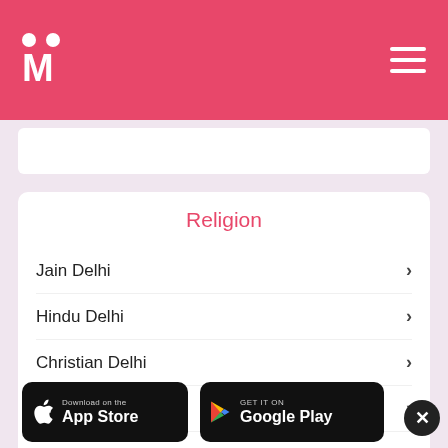M (Matrimony logo)
Religion
Jain Delhi
Hindu Delhi
Christian Delhi
Buddhist Delhi
Sikh Delhi
Muslim Delhi
[Figure (logo): Download on the App Store button]
[Figure (logo): GET IT ON Google Play button]